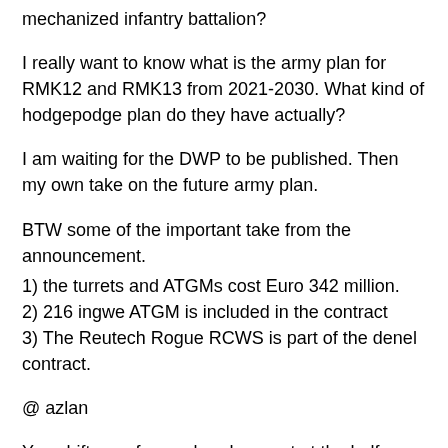mechanized infantry battalion?
I really want to know what is the army plan for RMK12 and RMK13 from 2021-2030. What kind of hodgepodge plan do they have actually?
I am waiting for the DWP to be published. Then my own take on the future army plan.
BTW some of the important take from the announcement.
1) the turrets and ATGMs cost Euro 342 million.
2) 216 ingwe ATGM is included in the contract
3) The Reutech Rogue RCWS is part of the denel contract.
@ azlan
You shift your focus elsewhere not at the halfway point.
zack